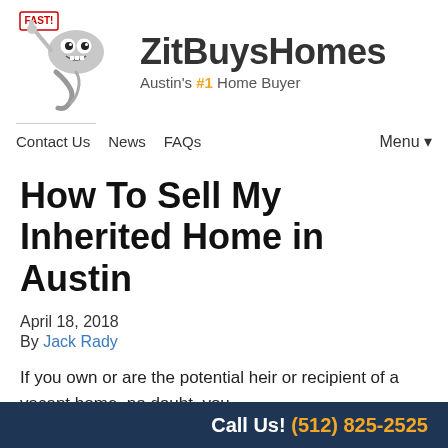[Figure (logo): ZitBuysHomes logo with cartoon tornado mascot holding a sign that says FAST!, with text 'ZitBuysHomes' and tagline "Austin's #1 Home Buyer"]
Contact Us   News   FAQs   Menu ▾
How To Sell My Inherited Home in Austin
April 18, 2018
By Jack Rady
If you own or are the potential heir or recipient of a vacant home, no doubt, you
Call Us! (512) 825-2525